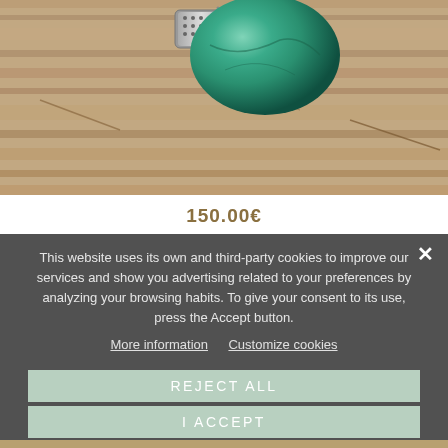[Figure (photo): A silver ring with a large turquoise stone, displayed on a rustic wooden surface.]
150.00€
This website uses its own and third-party cookies to improve our services and show you advertising related to your preferences by analyzing your browsing habits. To give your consent to its use, press the Accept button.
More information  Customize cookies
REJECT ALL
I ACCEPT